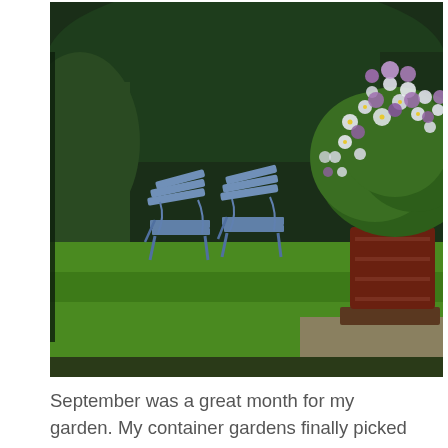[Figure (photo): Garden photo showing two blue metal lounge chairs on a green lawn, with a large ornate wooden planter box overflowing with white and pink flowers (petunias), and dense green hedges in the background.]
September was a great month for my garden. My container gardens finally picked up speed. The weather cooled. The grass grew like crazy.
[Figure (photo): Garden photo showing a rectangular reflecting pool or water feature set in a green lawn, with white stone edging, surrounded by lush green trees and shrubs and a black iron fence.]